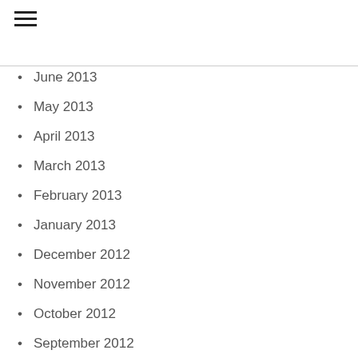June 2013
May 2013
April 2013
March 2013
February 2013
January 2013
December 2012
November 2012
October 2012
September 2012
Categories
Acne
ADHD
Allergy